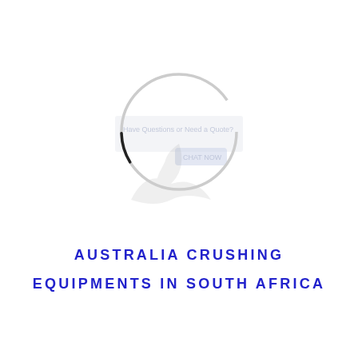[Figure (logo): A circular ring logo (light gray outer ring with a small black arc at the bottom) overlaid on a faint watermark of a chat widget with text 'Have Questions or Need a Quote?' and 'CHAT NOW', with a faint eagle/bird watermark image in the lower left of the circle area.]
AUSTRALIA CRUSHING EQUIPMENTS IN SOUTH AFRICA